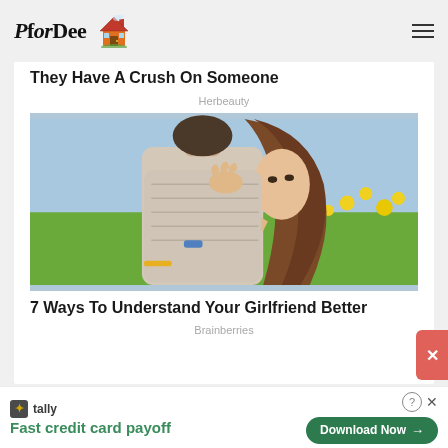PforDee [logo with house icon]
They Have A Crush On Someone
Herbeauty
[Figure (photo): A woman with long brown hair hugging a man from behind, looking over his shoulder toward the camera, in a field with yellow flowers in the background.]
7 Ways To Understand Your Girlfriend Better
Brainberries
[Figure (infographic): Advertisement banner for Tally app: 'Fast credit card payoff' with a Download Now button]